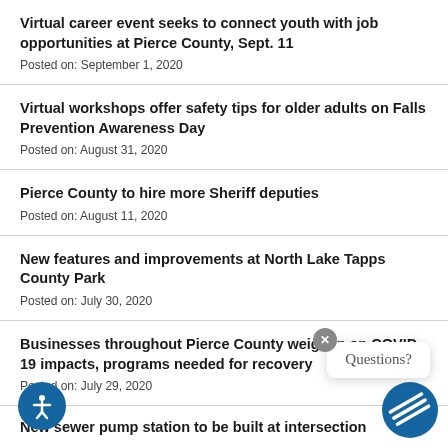Virtual career event seeks to connect youth with job opportunities at Pierce County, Sept. 11
Posted on: September 1, 2020
Virtual workshops offer safety tips for older adults on Falls Prevention Awareness Day
Posted on: August 31, 2020
Pierce County to hire more Sheriff deputies
Posted on: August 11, 2020
New features and improvements at North Lake Tapps County Park
Posted on: July 30, 2020
Businesses throughout Pierce County weigh in on COVID-19 impacts, programs needed for recovery
Posted on: July 29, 2020
New sewer pump station to be built at intersection